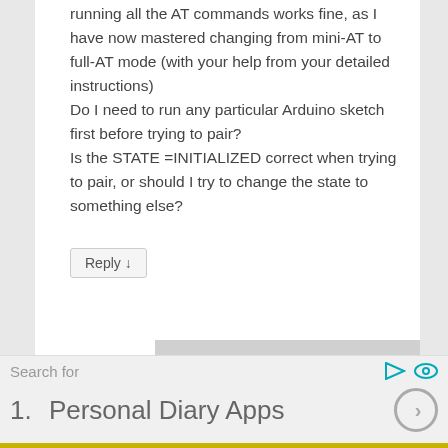running all the AT commands works fine, as I have now mastered changing from mini-AT to full-AT mode (with your help from your detailed instructions)
Do I need to run any particular Arduino sketch first before trying to pair?
Is the STATE =INITIALIZED correct when trying to pair, or should I try to change the state to something else?
Reply ↓
Search for
1.  Personal Diary Apps